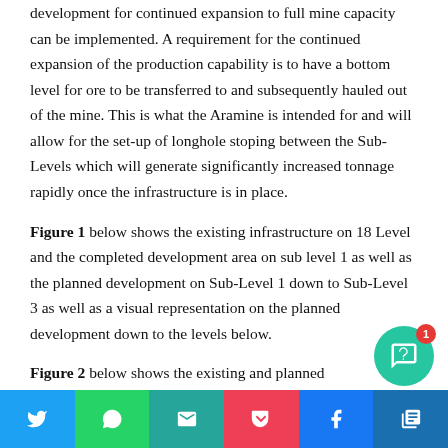development for continued expansion to full mine capacity can be implemented. A requirement for the continued expansion of the production capability is to have a bottom level for ore to be transferred to and subsequently hauled out of the mine. This is what the Aramine is intended for and will allow for the set-up of longhole stoping between the Sub-Levels which will generate significantly increased tonnage rapidly once the infrastructure is in place.
Figure 1 below shows the existing infrastructure on 18 Level and the completed development area on sub level 1 as well as the planned development on Sub-Level 1 down to Sub-Level 3 as well as a visual representation on the planned development down to the levels below.
Figure 2 below shows the existing and planned
[Figure (infographic): Social media share bar with Twitter, WhatsApp, Email, Pocket, Facebook, and one more button. A teal chat notification bubble with badge showing '1' overlays the bar.]